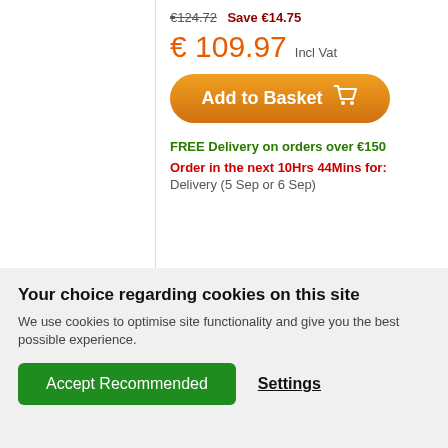€124.72  Save €14.75
€ 109.97  Incl Vat
Add to Basket
FREE Delivery on orders over €150
Order in the next 10Hrs 44Mins for:
Delivery (5 Sep or 6 Sep)
Your choice regarding cookies on this site
We use cookies to optimise site functionality and give you the best possible experience.
Accept Recommended
Settings